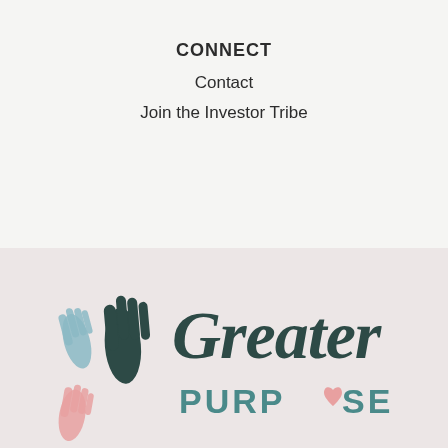CONNECT
Contact
Join the Investor Tribe
[Figure (logo): Greater Purpose logo with stylized hand illustrations in dark teal, muted blue, and pink, alongside script text 'Greater' and bold sans-serif 'PURPOSE' with a heart in place of the O]